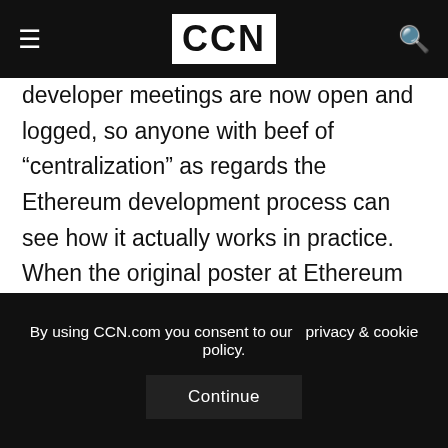CCN
developer meetings are now open and logged, so anyone with beef of “centralization” as regards the Ethereum development process can see how it actually works in practice. When the original poster at Ethereum trader praised Buterin, he made the unexpected statement at the beginning of the article – criticisms of his own invention which he agrees with and wants to work toward improving. The discussion is interesting for anyone with interest in Ethereum, as Buterin shares more thoughts on the future of Ethereum after the recent
By using CCN.com you consent to our privacy & cookie policy.
Continue